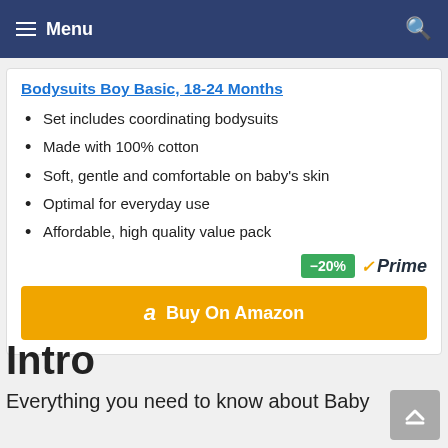Menu
Bodysuits Boy Basic, 18-24 Months
Set includes coordinating bodysuits
Made with 100% cotton
Soft, gentle and comfortable on baby's skin
Optimal for everyday use
Affordable, high quality value pack
−20%  ✓Prime  Buy On Amazon
Intro
Everything you need to know about Baby